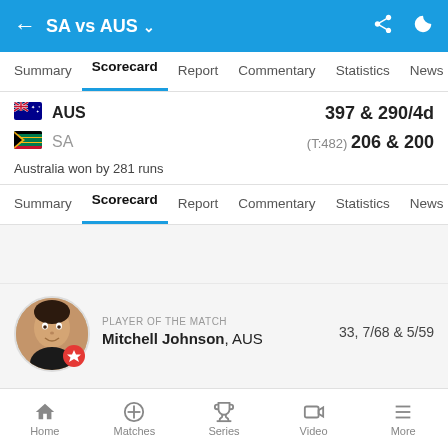SA vs AUS
Summary  Scorecard  Report  Commentary  Statistics  News
AUS  397 & 290/4d
SA  (T:482) 206 & 200
Australia won by 281 runs
Summary  Scorecard  Report  Commentary  Statistics  News
PLAYER OF THE MATCH  Mitchell Johnson, AUS  33, 7/68 & 5/59
Home  Matches  Series  Video  More